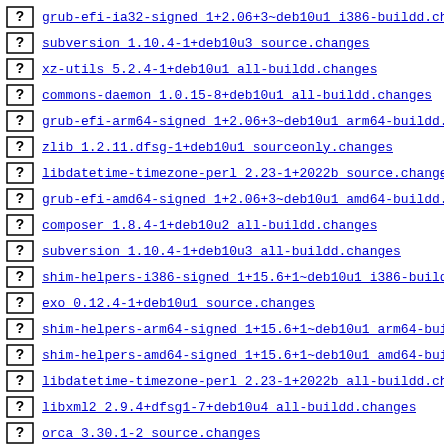grub-efi-ia32-signed 1+2.06+3~deb10u1 i386-buildd.cha
subversion 1.10.4-1+deb10u3 source.changes
xz-utils 5.2.4-1+deb10u1 all-buildd.changes
commons-daemon 1.0.15-8+deb10u1 all-buildd.changes
grub-efi-arm64-signed 1+2.06+3~deb10u1 arm64-buildd.c
zlib 1.2.11.dfsg-1+deb10u1 sourceonly.changes
libdatetime-timezone-perl 2.23-1+2022b source.changes
grub-efi-amd64-signed 1+2.06+3~deb10u1 amd64-buildd.c
composer 1.8.4-1+deb10u2 all-buildd.changes
subversion 1.10.4-1+deb10u3 all-buildd.changes
shim-helpers-i386-signed 1+15.6+1~deb10u1 i386-buildd
exo 0.12.4-1+deb10u1 source.changes
shim-helpers-arm64-signed 1+15.6+1~deb10u1 arm64-buil
shim-helpers-amd64-signed 1+15.6+1~deb10u1 amd64-buil
libdatetime-timezone-perl 2.23-1+2022b all-buildd.cha
libxml2 2.9.4+dfsg1-7+deb10u4 all-buildd.changes
orca 3.30.1-2 source.changes